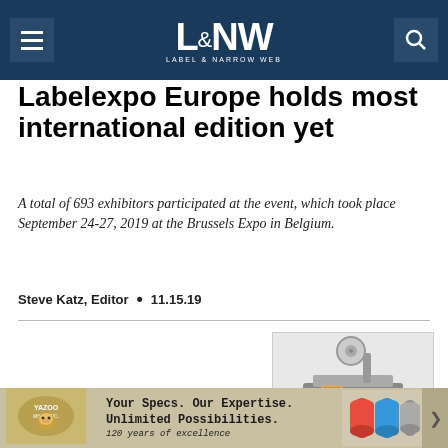L&NW Label & Narrow Web
Labelexpo Europe holds most international edition yet
A total of 693 exhibitors participated at the event, which took place September 24-27, 2019 at the Brussels Expo in Belgium.
Steve Katz, Editor • 11.15.19
[Figure (photo): Industrial label printing/dispensing machine on a production line]
Want a quanta?
[Figure (other): Yazoo Mills advertisement: Your Specs. Our Expertise. Unlimited Possibilities. 120 years of excellence]